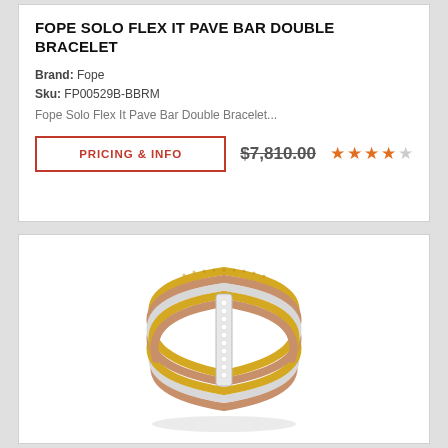FOPE SOLO FLEX IT PAVE BAR DOUBLE BRACELET
Brand: Fope
Sku: FP00529B-BBRM
Fope Solo Flex It Pave Bar Double Bracelet...
PRICING & INFO  $7,810.00  ★★★★☆
[Figure (photo): Photo of a multi-strand gold and rose gold flexible mesh ring/bracelet with a diamond pave bar clasp, shown on a white background.]